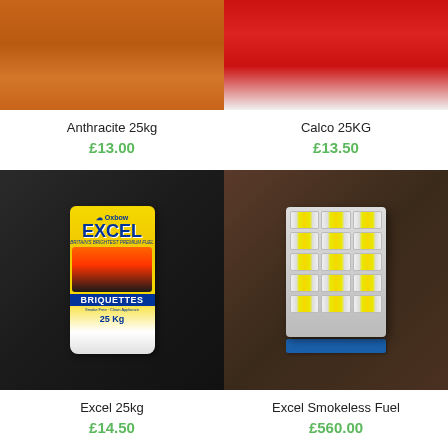[Figure (photo): Anthracite 25kg orange bag, cropped top]
[Figure (photo): Calco 25KG red bag, cropped top]
Anthracite 25kg
£13.00
Calco 25KG
£13.50
[Figure (photo): Excel Briquettes 25kg yellow bag by Oxbow on dark background]
[Figure (photo): Excel Smokeless Fuel bags stacked on blue pallet]
Excel 25kg
£14.50
Excel Smokeless Fuel
£560.00
[Figure (photo): Partial view of a yellow/white bag product, bottom row left]
[Figure (photo): Partial view of Excel branded bag on dark background, bottom row right]